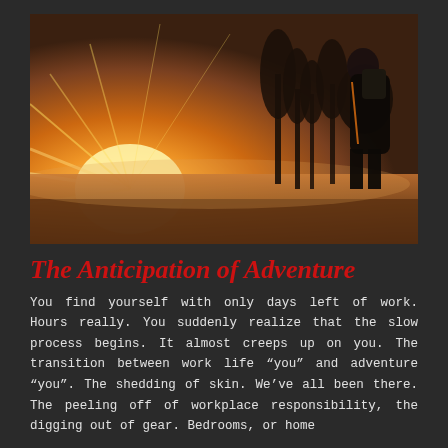[Figure (photo): A person viewed from behind wearing a large backpack, standing in an open field at sunrise or golden hour. Trees are silhouetted against a glowing warm amber and orange sky with sunrays streaming across the misty field.]
The Anticipation of Adventure
You find yourself with only days left of work. Hours really. You suddenly realize that the slow process begins. It almost creeps up on you. The transition between work life “you” and adventure “you”. The shedding of skin. We’ve all been there. The peeling off of workplace responsibility, the digging out of gear. Bedrooms, or home